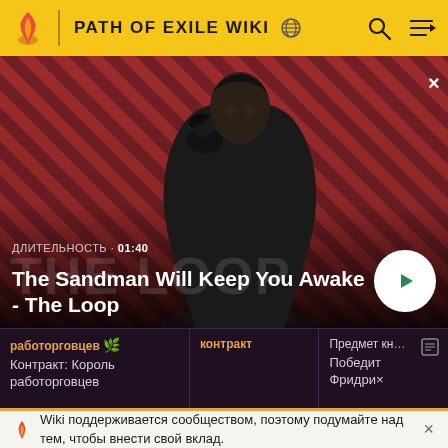PATH OF EXILE WIKI
[Figure (screenshot): Hero image showing a dark-robed figure with a raven on their shoulder against a red and dark diagonal striped background. Text overlays show: ДЛИТЕЛЬНОСТЬ · 01:40 and title 'The Sandman Will Keep You Awake - The Loop'. A play button is visible on the right.]
| работорговцев | контракт | Предмет кн... |
| --- | --- | --- |
| Контракт: Король работорговцев |  | Победит Фридри× |
Wiki поддерживается сообществом, поэтому подумайте над тем, чтобы внести свой вклад.